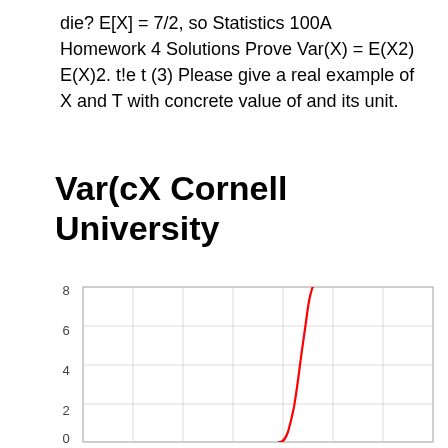die? E[X] = 7/2, so Statistics 100A Homework 4 Solutions Prove Var(X) = E(X2) E(X)2. t!e t (3) Please give a real example of X and T with concrete value of and its unit.
Var(cX Cornell University
[Figure (continuous-plot): A mathematical plot showing a curve (likely an exponential or rapidly increasing function) drawn in red. The y-axis shows values from 0 to 8 (with gridlines at 0, 2, 4, 6, 8). The curve rises steeply near the right-center of the plot area, going from near 0 at the bottom and shooting upward past 8. The plot has a light gray grid.]